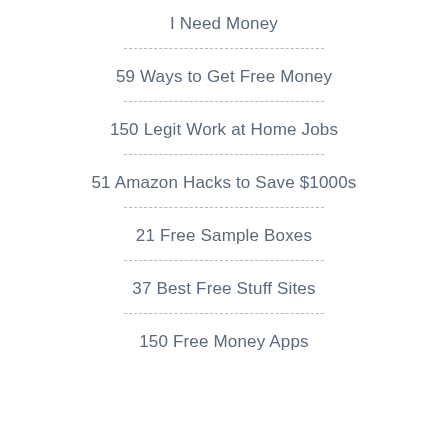I Need Money
59 Ways to Get Free Money
150 Legit Work at Home Jobs
51 Amazon Hacks to Save $1000s
21 Free Sample Boxes
37 Best Free Stuff Sites
150 Free Money Apps